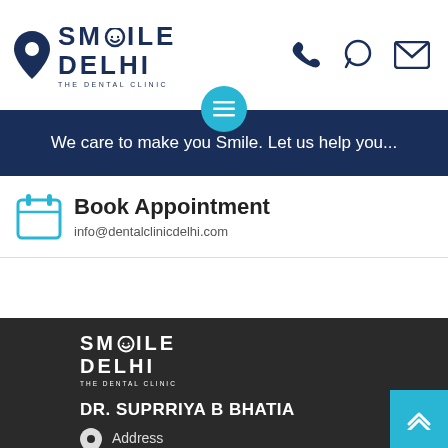[Figure (logo): Smile Delhi The Dental Clinic logo with location pin icon in header]
[Figure (infographic): Phone, WhatsApp, and email icons on right side of header]
[Figure (other): Cyan hamburger menu button overlapping blue banner]
We care to make you Smile. Let us help you...
Book Appointment
info@dentalclinicdelhi.com
[Figure (logo): Smile Delhi The Dental Clinic white logo on dark footer background]
DR. SUPRRIYA B BHATIA
Address
D-1065, Block D, Friends Colony East,